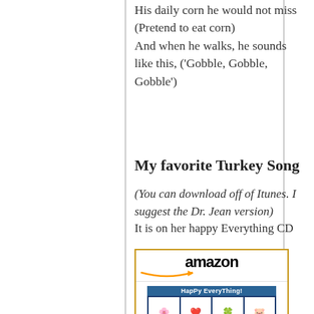His daily corn he would not miss
(Pretend to eat corn)
And when he walks, he sounds like this, ('Gobble, Gobble, Gobble')
My favorite Turkey Song
(You can download off of Itunes. I suggest the Dr. Jean version)
It is on her happy Everything CD
[Figure (other): Amazon product listing widget showing 'Happy Everything' CD by Dr. Jean, priced at $30.30 with Prime badge. The product image shows a blue grid with holiday/seasonal emoji icons.]